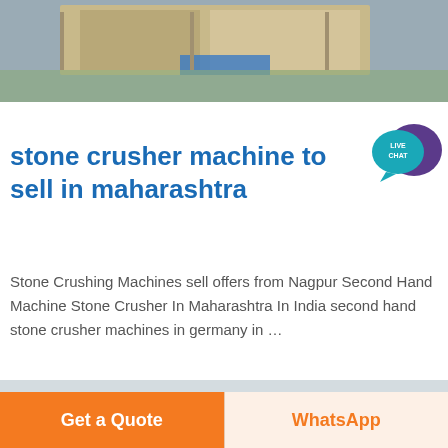[Figure (photo): Aerial view of an industrial building complex with blue roof and surrounding grounds]
[Figure (illustration): Live Chat speech bubble icon with teal circle labeled LIVE CHAT and purple chat bubble behind it]
stone crusher machine to sell in maharashtra
Stone Crushing Machines sell offers from Nagpur Second Hand Machine Stone Crusher In Maharashtra In India second hand stone crusher machines in germany in …
[Figure (photo): Outdoor scene with utility power lines and poles, trees and hills in the background under overcast sky]
Get a Quote
WhatsApp